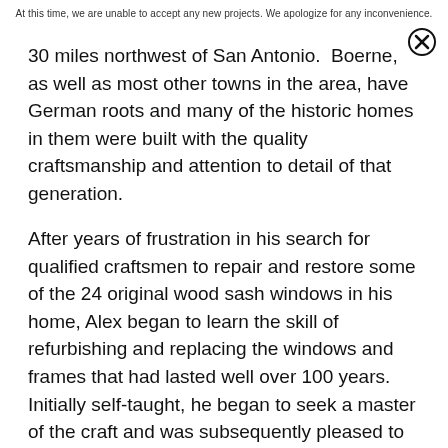At this time, we are unable to accept any new projects. We apologize for any inconvenience.
30 miles northwest of San Antonio.  Boerne, as well as most other towns in the area, have German roots and many of the historic homes in them were built with the quality craftsmanship and attention to detail of that generation.
After years of frustration in his search for qualified craftsmen to repair and restore some of the 24 original wood sash windows in his home, Alex began to learn the skill of refurbishing and replacing the windows and frames that had lasted well over 100 years.  Initially self-taught, he began to seek a master of the craft and was subsequently pleased to learn of workshops sponsored by the City of San Antonio Office of Historic Preservation being led by Mr. Steve Quillian of Wood Window Makeover.  Alex has worked and trained under Mr. Quillian, learning repair and